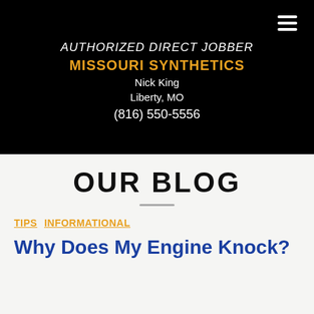AUTHORIZED DIRECT JOBBER
MISSOURI SYNTHETICS
Nick King
Liberty, MO
(816) 550-5556
OUR BLOG
TIPS   INFORMATIONAL
Why Does My Engine Knock?